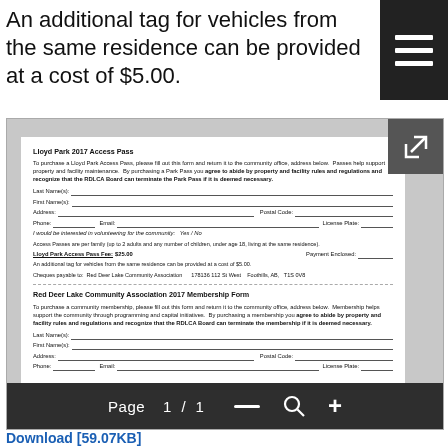An additional tag for vehicles from the same residence can be provided at a cost of $5.00.
[Figure (screenshot): Preview of Lloyd Park 2017 Access Pass form and Red Deer Lake Community Association 2017 Membership Form document, showing form fields for Last Name, First Name, Address, Postal Code, Phone, Email, License Plate, volunteering interest, Lloyd Park Access Pass Fee of $25.00, payment enclosed line, additional tag note, and cheque payable to Red Deer Lake Community Association at 178136 112 St West, Foothils, AB, T1S 0V8. Below is a second section for Red Deer Lake Community Association 2017 Membership Form with similar introductory text and form fields. A page navigation bar showing Page 1 / 1 overlays the bottom of the document preview.]
Download [59.07KB]